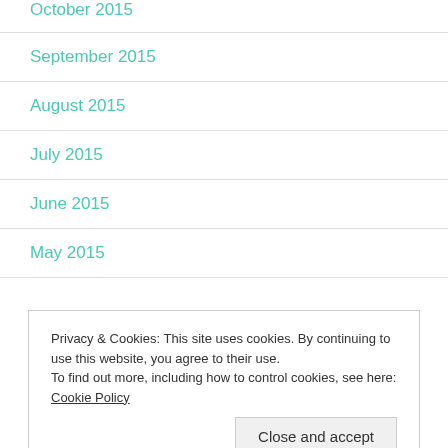October 2015
September 2015
August 2015
July 2015
June 2015
May 2015
Privacy & Cookies: This site uses cookies. By continuing to use this website, you agree to their use.
To find out more, including how to control cookies, see here: Cookie Policy
February 2015